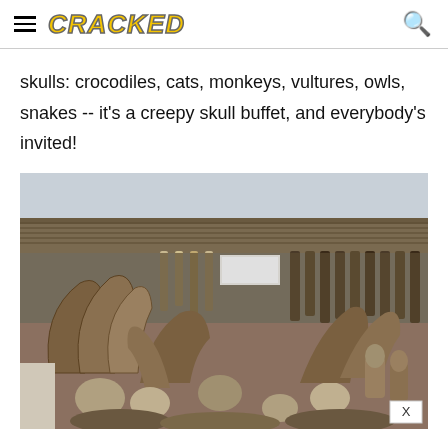CRACKED
skulls: crocodiles, cats, monkeys, vultures, owls, snakes -- it's a creepy skull buffet, and everybody's invited!
[Figure (photo): Outdoor market stall displaying large collection of animal skulls, horns, bones, and pelts hanging from a corrugated metal roof structure. Various animal skulls and horns piled in the foreground.]